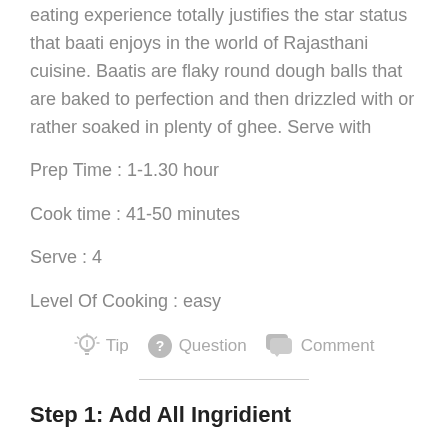eating experience totally justifies the star status that baati enjoys in the world of Rajasthani cuisine. Baatis are flaky round dough balls that are baked to perfection and then drizzled with or rather soaked in plenty of ghee. Serve with
Prep Time : 1-1.30 hour
Cook time : 41-50 minutes
Serve : 4
Level Of Cooking : easy
[Figure (infographic): Three icon-labeled links: a lightbulb icon with 'Tip', a question mark icon with 'Question', and a speech bubble icon with 'Comment', all in grey.]
Step 1: Add All Ingridient